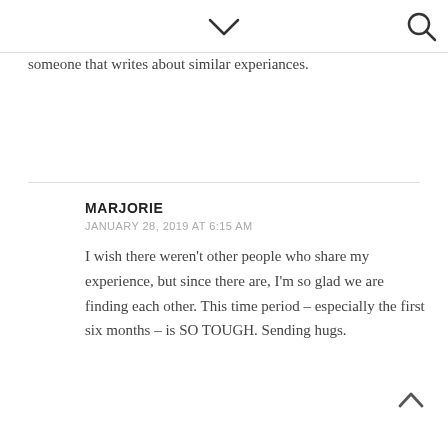▾  🔍
someone that writes about similar experiances.
MARJORIE
JANUARY 28, 2019 AT 6:15 AM

I wish there weren't other people who share my experience, but since there are, I'm so glad we are finding each other. This time period – especially the first six months – is SO TOUGH. Sending hugs.